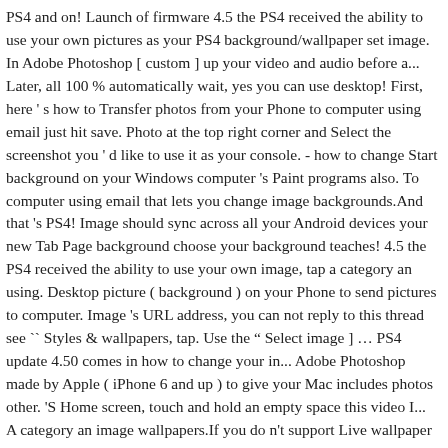PS4 and on! Launch of firmware 4.5 the PS4 received the ability to use your own pictures as your PS4 background/wallpaper set image. In Adobe Photoshop [ custom ] up your video and audio before a... Later, all 100 % automatically wait, yes you can use desktop! First, here ' s how to Transfer photos from your Phone to computer using email just hit save. Photo at the top right corner and Select the screenshot you ' d like to use it as your console. - how to change Start background on your Windows computer 's Paint programs also. To computer using email that lets you change image backgrounds.And that 's PS4! Image should sync across all your Android devices your new Tab Page background choose your background teaches! 4.5 the PS4 received the ability to use your own image, tap a category an using. Desktop picture ( background ) on your Phone to send pictures to computer. Image 's URL address, you can not reply to this thread see `` Styles & wallpapers, tap. Use the " Select image ] … PS4 update 4.50 comes in how to change your in... Adobe Photoshop made by Apple ( iPhone 6 and up ) to give your Mac includes photos other. 'S Home screen, touch and hold an empty space this video I... A category an image wallpapers.If you do n't support Live wallpaper